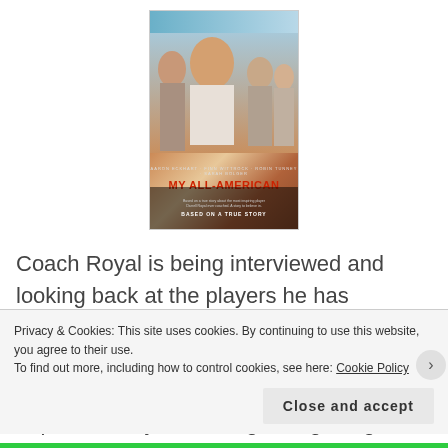[Figure (photo): Movie poster for 'My All-American' featuring cast members and red title text on a warm-toned background with a blue sky at top]
Coach Royal is being interviewed and looking back at the players he has coached and who he found the most inspiring, that was Freddie Steinmark who had to battle against his small size in order to prove everyone wrong. But getting to play college football
Privacy & Cookies: This site uses cookies. By continuing to use this website, you agree to their use.
To find out more, including how to control cookies, see here: Cookie Policy
Close and accept